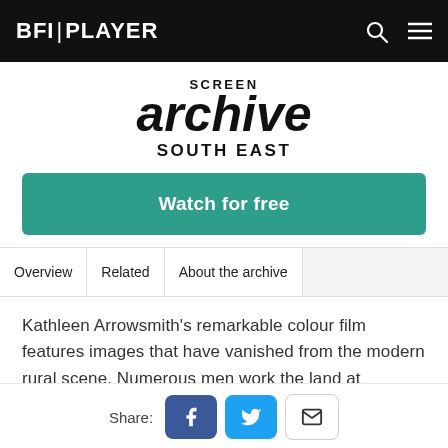BFI PLAYER
[Figure (logo): Screen Archive South East logo with large italic 'archive' text]
Watch for free
| Overview | Related | About the archive |  |
| --- | --- | --- | --- |
Kathleen Arrowsmith's remarkable colour film features images that have vanished from the modern rural scene. Numerous men work the land at Streatley, Berkshire, using steam traction engines to clear and till the land. A primitive looking tractor hauls a trailer with
Share: